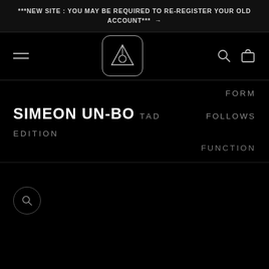***NEW SITE : YOU MAY BE REQUIRED TO RE-REGISTER YOUR OLD ACCOUNT*** →
[Figure (logo): Brand logo: triangle-like symbol inside a rounded square, navbar with hamburger menu, search icon, and bag icon]
FORM
SIMEON UN-BO TAD EDITION
FOLLOWS
FUNCTION
[Figure (other): Search icon circle button on dark product area background]